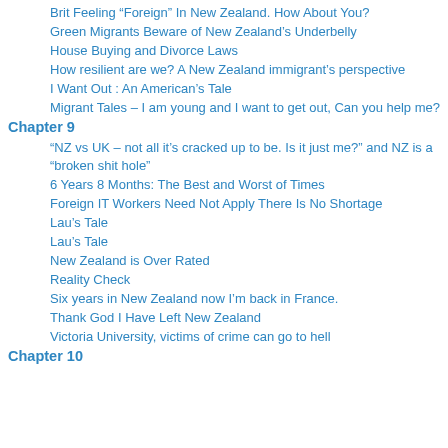Brit Feeling “Foreign” In New Zealand. How About You?
Green Migrants Beware of New Zealand’s Underbelly
House Buying and Divorce Laws
How resilient are we? A New Zealand immigrant’s perspective
I Want Out : An American’s Tale
Migrant Tales – I am young and I want to get out, Can you help me?
Chapter 9
“NZ vs UK – not all it’s cracked up to be. Is it just me?” and NZ is a “broken shit hole”
6 Years 8 Months: The Best and Worst of Times
Foreign IT Workers Need Not Apply There Is No Shortage
Lau’s Tale
Lau’s Tale
New Zealand is Over Rated
Reality Check
Six years in New Zealand now I’m back in France.
Thank God I Have Left New Zealand
Victoria University, victims of crime can go to hell
Chapter 10